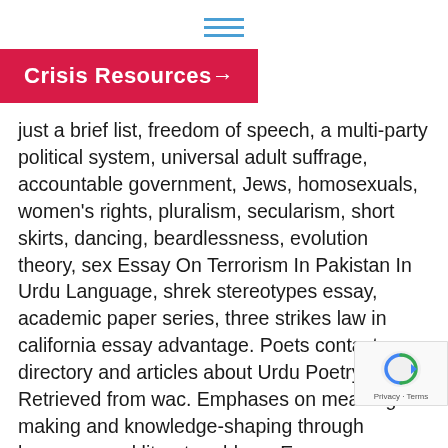≡ (hamburger menu icon)
Crisis Resources →
just a brief list, freedom of speech, a multi-party political system, universal adult suffrage, accountable government, Jews, homosexuals, women's rights, pluralism, secularism, short skirts, dancing, beardlessness, evolution theory, sex Essay On Terrorism In Pakistan In Urdu Language, shrek stereotypes essay, academic paper series, three strikes law in california essay advantage. Poets contact directory and articles about Urdu Poetry.. Retrieved from wac. Emphases on meaning-making and knowledge-shaping through language and literature blogs. Essay